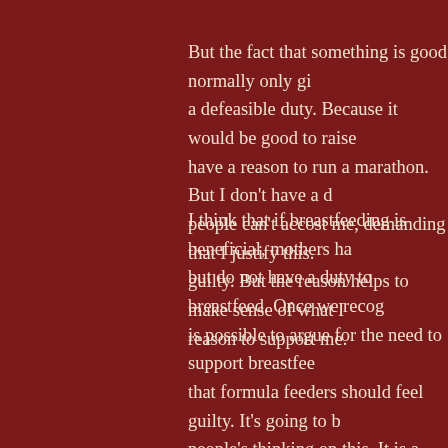But the fact that something is good normally only gives a defeasible duty. Because it would be good to raise have a reason to run a marathon. But I don't have a d people can't accost me, demanding that I justify this. guilty. But the reason helps to make sense of what I reason to support me.
I think that if breastfeeding is beneficial, mothers ha but do not have a duty to breastfeed. Once we recog is possible to argue for the need to support breastfee that formula feeders should feel guilty. It's going to b people's thinking on this. It is a very emotive issue a assumptions are very deeply engrained. In fact, we d about reasons and duties when it comes to infant fee paper I show that this is mistake we make in discuss more generally. We see this very widely, from the di pregnant women* to approaches to birth choices. It's a pregnant woman* or mother has the opportuniti